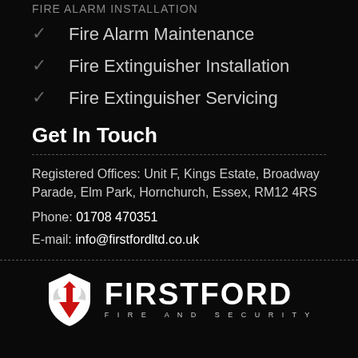Fire Alarm Maintenance
Fire Extinguisher Installation
Fire Extinguisher Servicing
Get In Touch
Registered Offices: Unit F, Kings Estate, Broadway Parade, Elm Park, Hornchurch, Essex, RM12 4RS
Phone: 01708 470351
E-mail: info@firstfordltd.co.uk
[Figure (logo): Firstford Fire and Security logo with shield icon and company name]